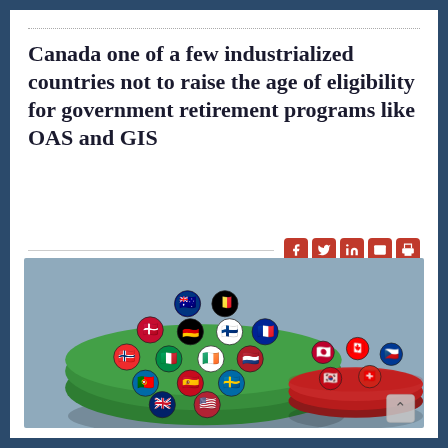Canada one of a few industrialized countries not to raise the age of eligibility for government retirement programs like OAS and GIS
[Figure (illustration): 3D illustration showing a large green disc with many country flag buttons (Australia, Belgium, Denmark, Germany, Finland, France, Norway, Italy, Portugal, Spain, Sweden, UK, USA, and others) representing industrialized countries that raised retirement age, and a smaller red disc with fewer country flag buttons (Japan, Canada, South Korea, Switzerland, and others) representing countries that did not.]